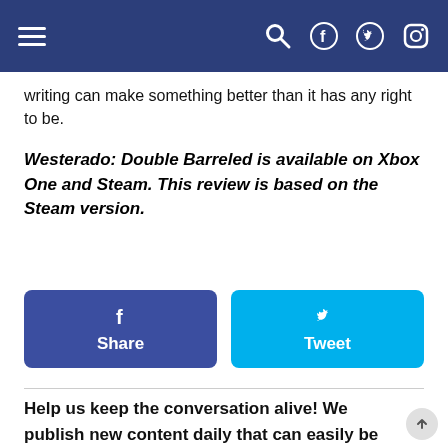Navigation bar with menu, search, Facebook, Twitter, Instagram icons
writing can make something better than it has any right to be.
Westerado: Double Barreled is available on Xbox One and Steam. This review is based on the Steam version.
[Figure (infographic): Two social share buttons side by side: Facebook Share (dark blue) and Twitter Tweet (light blue)]
Help us keep the conversation alive! We publish new content daily that can easily be found by following us on Twitter, Instagram, by joining our Facebook Page, or